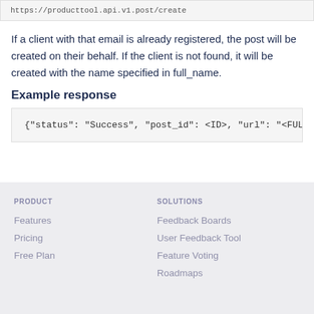If a client with that email is already registered, the post will be created on their behalf. If the client is not found, it will be created with the name specified in full_name.
Example response
{"status": "Success", "post_id": <ID>, "url": "<FUL
PRODUCT | Features | Pricing | Free Plan || SOLUTIONS | Feedback Boards | User Feedback Tool | Feature Voting | Roadmaps